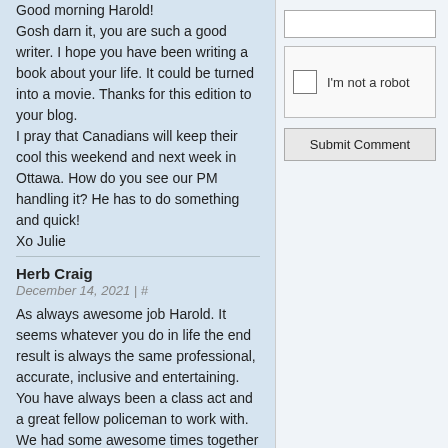Good morning Harold!
Gosh darn it, you are such a good writer. I hope you have been writing a book about your life. It could be turned into a movie. Thanks for this edition to your blog.
I pray that Canadians will keep their cool this weekend and next week in Ottawa. How do you see our PM handling it? He has to do something and quick!
Xo Julie
Herb Craig
December 14, 2021 | #
As always awesome job Harold. It seems whatever you do in life the end result is always the same professional, accurate, inclusive and entertaining. You have always been a class act and a great fellow policeman to work with. We had some awesome times together my friend. I will always hold you close as a true friend. Keep up the good work. Hope to see you this summer.
Warm regards
Herb Craig
Harold McNeill
[Figure (screenshot): reCAPTCHA widget with checkbox labeled 'I'm not a robot', a text input field, and a Submit Comment button]